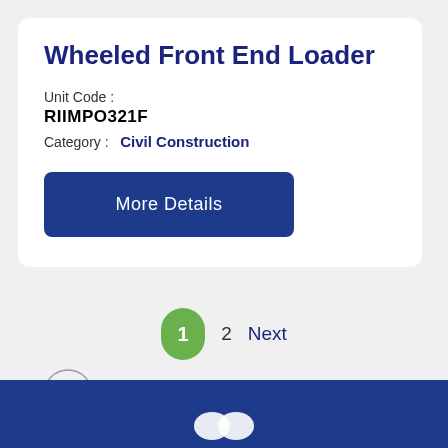Wheeled Front End Loader
Unit Code :
RIIMPO321F
Category :   Civil Construction
More Details
1   2   Next